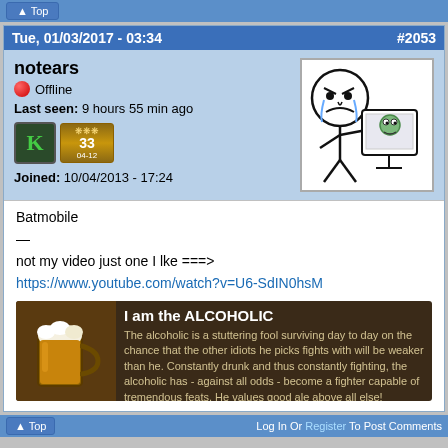Top
Tue, 01/03/2017 - 03:34   #2053
notears
Offline
Last seen: 9 hours 55 min ago
Joined: 10/04/2013 - 17:24
[Figure (illustration): Rage face meme - stick figure crying at computer]
Batmobile

—

not my video just one I lke ===>
https://www.youtube.com/watch?v=U6-SdIN0hsM
[Figure (illustration): I am the ALCOHOLIC banner - The alcoholic is a stuttering fool surviving day to day on the chance that the other idiots he picks fights with will be weaker than he. Constantly drunk and thus constantly fighting, the alcoholic has - against all odds - become a fighter capable of tremendous feats. He values good ale above all else!]
Top   Log In Or Register To Post Comments